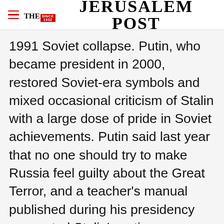THE JERUSALEM POST
1991 Soviet collapse. Putin, who became president in 2000, restored Soviet-era symbols and mixed occasional criticism of Stalin with a large dose of pride in Soviet achievements. Putin said last year that no one should try to make Russia feel guilty about the Great Terror, and a teacher's manual published during his presidency suggested Stalin's actions were justified by the need to modernize the economy. "This new view of Stalin, Stalin as a hero, Stalin as the one to
Advertisement